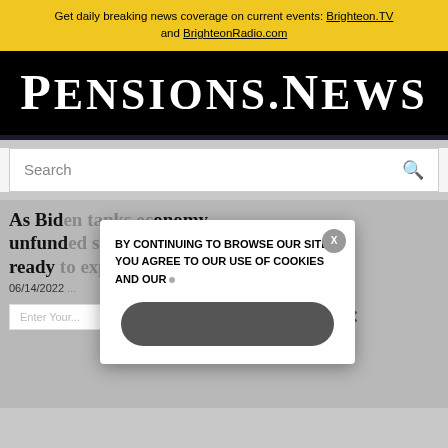Get daily breaking news coverage on current events: Brighteon.TV and BrighteonRadio.com
[Figure (logo): Pensions.News logo — white serif bold text on black background]
Search
As Biden tanks economy, unfunded state pension bomb ready to explode into trillions
06/14/2022
BY CONTINUING TO BROWSE OUR SITE YOU AGREE TO OUR USE OF COOKIES AND OUR
Enter Your Email